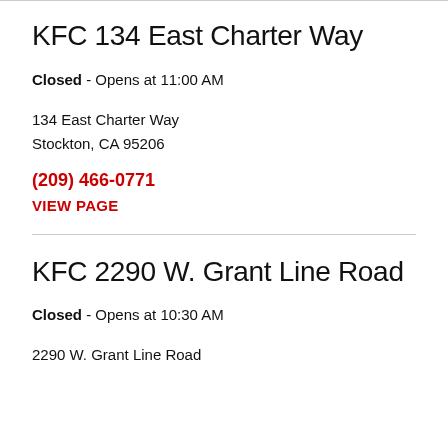KFC 134 East Charter Way
Closed - Opens at 11:00 AM
134 East Charter Way
Stockton, CA 95206
(209) 466-0771
VIEW PAGE
KFC 2290 W. Grant Line Road
Closed - Opens at 10:30 AM
2290 W. Grant Line Road